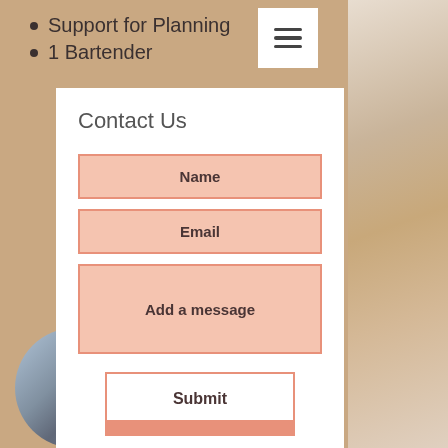Support for Planning
1 Bartender
Contact Us
Name
Email
Add a message
Submit
[Figure (photo): Circular photo of dining/event room with tables and chairs]
[Figure (photo): Circular photo of decorated interior space with pumpkins and decor]